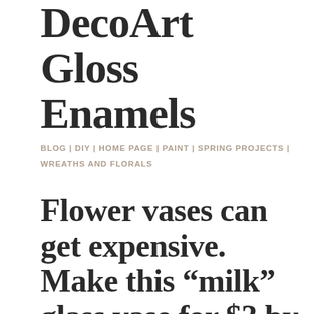DecoArt Gloss Enamels
BLOG | DIY | HOME PAGE | PAINT | SPRING PROJECTS | WREATHS AND FLORALS
Flower vases can get expensive. Make this “milk” glass vase for $3 by following these steps